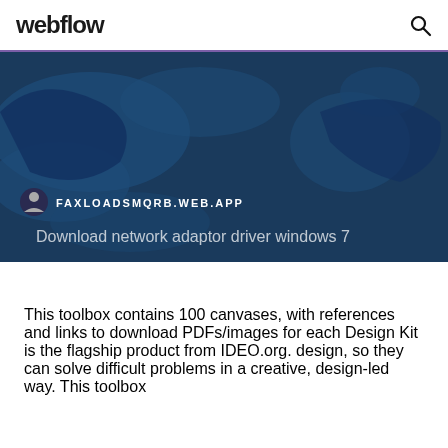webflow
[Figure (screenshot): Dark blue map background with a website label showing a circular icon and the URL FAXLOADSMQRB.WEB.APP, and below it the text 'Download network adaptor driver windows 7' in muted white text.]
This toolbox contains 100 canvases, with references and links to download PDFs/images for each Design Kit is the flagship product from IDEO.org. design, so they can solve difficult problems in a creative, design-led way. This toolbox